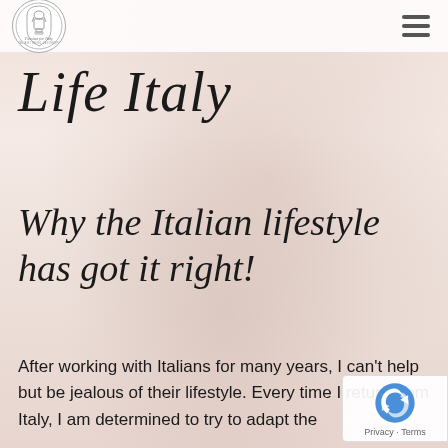[Figure (logo): Passion for Italy - Italian Travel Designers circular logo with ornate urn illustration]
Life Italy
Why the Italian lifestyle has got it right!
After working with Italians for many years, I can't help but be jealous of their lifestyle. Every time I return from Italy, I am determined to try to adapt the